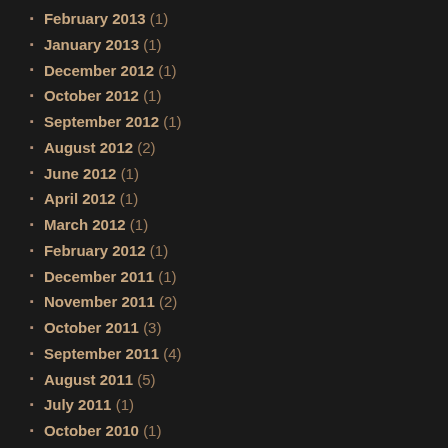February 2013 (1)
January 2013 (1)
December 2012 (1)
October 2012 (1)
September 2012 (1)
August 2012 (2)
June 2012 (1)
April 2012 (1)
March 2012 (1)
February 2012 (1)
December 2011 (1)
November 2011 (2)
October 2011 (3)
September 2011 (4)
August 2011 (5)
July 2011 (1)
October 2010 (1)
September 2010 (1)
August 2010 (1)
July 2010 (2)
June 2010 (1)